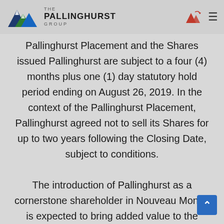THE PALLINGHURST GROUP
Pallinghurst Placement and the Shares issued Pallinghurst are subject to a four (4) months plus one (1) day statutory hold period ending on August 26, 2019. In the context of the Pallinghurst Placement, Pallinghurst agreed not to sell its Shares for up to two years following the Closing Date, subject to conditions.

The introduction of Pallinghurst as a cornerstone shareholder in Nouveau Monde is expected to bring added value to the Matawinie Project (the “Matawinie Project”), a